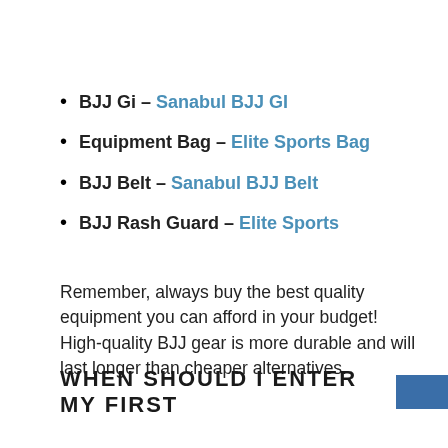BJJ Gi – Sanabul BJJ GI
Equipment Bag – Elite Sports Bag
BJJ Belt – Sanabul BJJ Belt
BJJ Rash Guard – Elite Sports
Remember, always buy the best quality equipment you can afford in your budget! High-quality BJJ gear is more durable and will last longer than cheaper alternatives.
WHEN SHOULD I ENTER MY FIRST